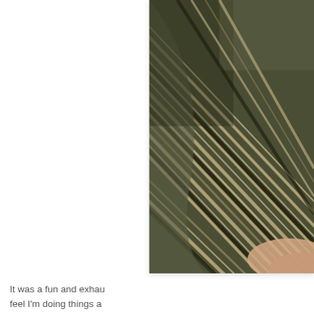[Figure (photo): Close-up photo of a striped fabric or textile in dark olive/khaki tones with brown and tan stripes, with a partial view of a person's hand or skin at the bottom right corner. The fabric appears to be a garment or upholstery with a diagonal orientation.]
It was a fun and exhau feel I'm doing things a